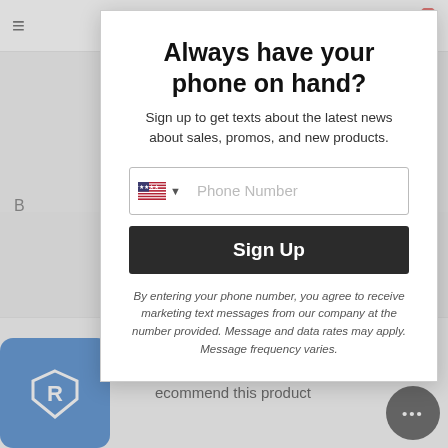[Figure (screenshot): Website header navigation bar with hamburger menu on left and shopping cart icon with badge showing 0 on right]
Always have your phone on hand?
Sign up to get texts about the latest news about sales, promos, and new products.
[Figure (screenshot): Phone number input field with US flag and dropdown caret, placeholder text 'Phone Number']
Sign Up
By entering your phone number, you agree to receive marketing text messages from our company at the number provided. Message and data rates may apply. Message frequency varies.
Courtney - cstake@ryonet.com
Brian E.  Verified Buyer  04/
ecommend this product